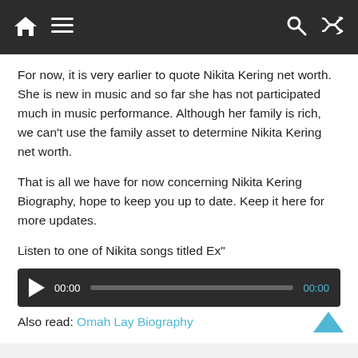Navigation bar with home, menu, search, and shuffle icons
For now, it is very earlier to quote Nikita Kering net worth. She is new in music and so far she has not participated much in music performance. Although her family is rich, we can’t use the family asset to determine Nikita Kering net worth.
That is all we have for now concerning Nikita Kering Biography, hope to keep you up to date. Keep it here for more updates.
Listen to one of Nikita songs titled Ex”
[Figure (other): Audio player with play button, time display 00:00, progress bar, and end time 00:00]
Also read: Omah Lay Biography